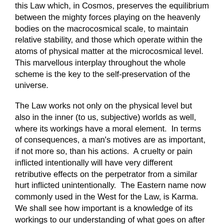this Law which, in Cosmos, preserves the equilibrium between the mighty forces playing on the heavenly bodies on the macrocosmical scale, to maintain relative stability, and those which operate within the atoms of physical matter at the microcosmical level.  This marvellous interplay throughout the whole scheme is the key to the self-preservation of the universe.
The Law works not only on the physical level but also in the inner (to us, subjective) worlds as well, where its workings have a moral element.  In terms of consequences, a man's motives are as important, if not more so, than his actions.  A cruelty or pain inflicted intentionally will have very different retributive effects on the perpetrator from a similar hurt inflicted unintentionally.  The Eastern name now commonly used in the West for the Law, is Karma.  We shall see how important is a knowledge of its workings to our understanding of what goes on after death.
-11-
Creation
Another new idea necessary for our understanding of the hereafter concerns what is commonly called creation.  We are mostly used to the notion that if anything, from a